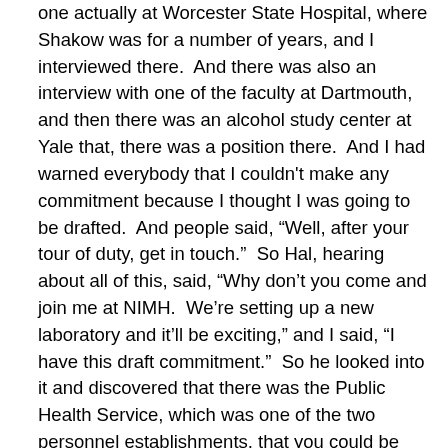one actually at Worcester State Hospital, where Shakow was for a number of years, and I interviewed there.  And there was also an interview with one of the faculty at Dartmouth, and then there was an alcohol study center at Yale that, there was a position there.  And I had warned everybody that I couldn't make any commitment because I thought I was going to be drafted.  And people said, “Well, after your tour of duty, get in touch.”  So Hal, hearing about all of this, said, “Why don’t you come and join me at NIMH.  We’re setting up a new laboratory and it’ll be exciting,” and I said, “I have this draft commitment.”  So he looked into it and discovered that there was the Public Health Service, which was one of the two personnel establishments, that you could be either in the civil service or in the Public Health Service, and service in the USPHS, the Public Health Service, qualified as military service since I guess we weren’t officially at war.  Korea was a police action.  The Public Health Service was mobilized, and service there counted as military service.  My draft board didn’t believe it.  I remember Dick Bell, who you will